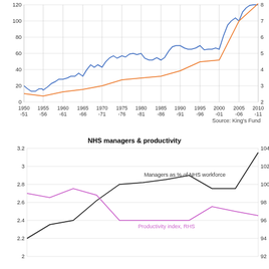[Figure (line-chart): Line chart showing two series from 1950-51 to 2010-11. Blue line rises from ~20 to ~120 (left axis). Orange line rises from ~10 to ~125 (right axis 2-8).]
Source: King's Fund
NHS managers & productivity
[Figure (line-chart): Line chart with two series. Black line (Managers as % of NHS workforce) rises from ~2.2 to ~3.15. Pink line (Productivity index, RHS) fluctuates from ~99 down to ~96.]